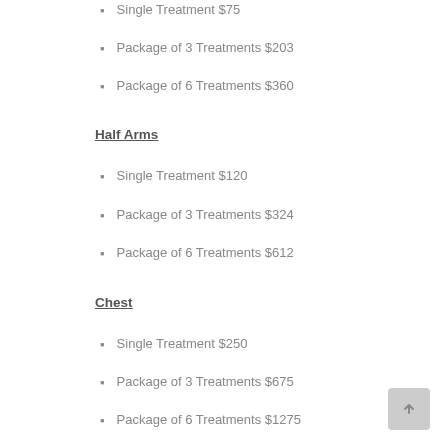Single Treatment $75
Package of 3 Treatments $203
Package of 6 Treatments $360
Half Arms
Single Treatment $120
Package of 3 Treatments $324
Package of 6 Treatments $612
Chest
Single Treatment $250
Package of 3 Treatments $675
Package of 6 Treatments $1275